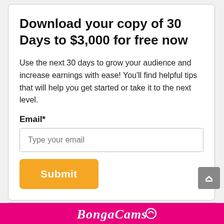Download your copy of 30 Days to $3,000 for free now
Use the next 30 days to grow your audience and increase earnings with ease! You'll find helpful tips that will help you get started or take it to the next level.
Email*
Type your email
Submit
[Figure (logo): BongaCams logo in white on hot pink background footer bar]